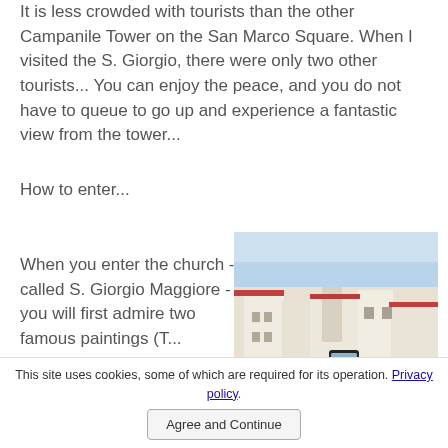It is less crowded with tourists than the other Campanile Tower on the San Marco Square. When I visited the S. Giorgio, there were only two other tourists... You can enjoy the peace, and you do not have to queue to go up and experience a fantastic view from the tower...
How to enter...
When you enter the church - called S. Giorgio Maggiore - you will first admire two famous paintings (T...
[Figure (photo): Person holding a smartphone taking a photo of a Mediterranean cityscape with white buildings and a tower in the background, blue sky visible.]
This site uses cookies, some of which are required for its operation. Privacy policy.